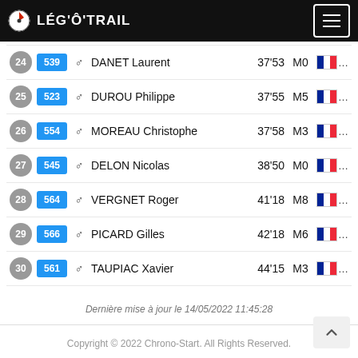LÉG'Ô'TRAIL
| Rank | Bib | Gender | Name | Time | Category | Country |
| --- | --- | --- | --- | --- | --- | --- |
| 24 | 539 | ♂ | DANET Laurent | 37'53 | M0 | 🇫🇷... |
| 25 | 523 | ♂ | DUROU Philippe | 37'55 | M5 | 🇫🇷... |
| 26 | 554 | ♂ | MOREAU Christophe | 37'58 | M3 | 🇫🇷... |
| 27 | 545 | ♂ | DELON Nicolas | 38'50 | M0 | 🇫🇷... |
| 28 | 564 | ♂ | VERGNET Roger | 41'18 | M8 | 🇫🇷... |
| 29 | 566 | ♂ | PICARD Gilles | 42'18 | M6 | 🇫🇷... |
| 30 | 561 | ♂ | TAUPIAC Xavier | 44'15 | M3 | 🇫🇷... |
Dernière mise à jour le 14/05/2022 11:45:28
Copyright © 2022 Chrono-Start. All Rights Reserved.